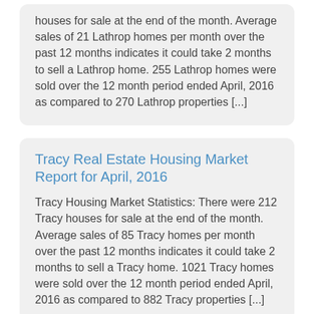houses for sale at the end of the month. Average sales of 21 Lathrop homes per month over the past 12 months indicates it could take 2 months to sell a Lathrop home. 255 Lathrop homes were sold over the 12 month period ended April, 2016 as compared to 270 Lathrop properties [...]
Tracy Real Estate Housing Market Report for April, 2016
Tracy Housing Market Statistics: There were 212 Tracy houses for sale at the end of the month. Average sales of 85 Tracy homes per month over the past 12 months indicates it could take 2 months to sell a Tracy home. 1021 Tracy homes were sold over the 12 month period ended April, 2016 as compared to 882 Tracy properties [...]
Weston Ranch Real Estate Housing Market Report